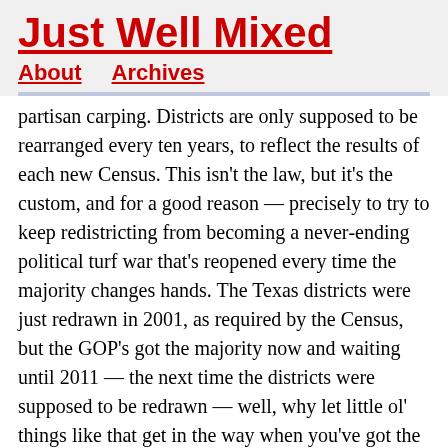Just Well Mixed
About   Archives
partisan carping. Districts are only supposed to be rearranged every ten years, to reflect the results of each new Census. This isn't the law, but it's the custom, and for a good reason — precisely to try to keep redistricting from becoming a never-ending political turf war that's reopened every time the majority changes hands. The Texas districts were just redrawn in 2001, as required by the Census, but the GOP's got the majority now and waiting until 2011 — the next time the districts were supposed to be redrawn — well, why let little ol' things like that get in the way when you've got the muscle to get what you want now, right?
The Washington Post's op-ed page hailed the